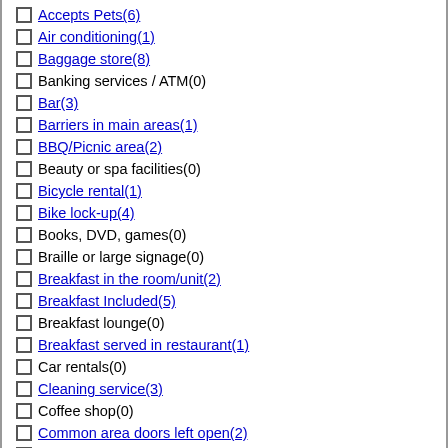Accepts Pets(6)
Air conditioning(1)
Baggage store(8)
Banking services / ATM(0)
Bar(3)
Barriers in main areas(1)
BBQ/Picnic area(2)
Beauty or spa facilities(0)
Bicycle rental(1)
Bike lock-up(4)
Books, DVD, games(0)
Braille or large signage(0)
Breakfast in the room/unit(2)
Breakfast Included(5)
Breakfast lounge(0)
Breakfast served in restaurant(1)
Car rentals(0)
Cleaning service(3)
Coffee shop(0)
Common area doors left open(2)
Contactless check-in/out(6)
Currency exchange(0)
Designated smoking area(1)